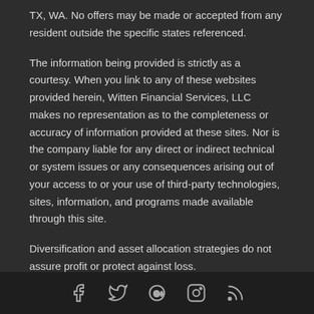TX, WA. No offers may be made or accepted from any resident outside the specific states referenced.
The information being provided is strictly as a courtesy. When you link to any of these websites provided herein, Witten Financial Services, LLC makes no representation as to the completeness or accuracy of information provided at these sites. Nor is the company liable for any direct or indirect technical or system issues or any consequences arising out of your access to or your use of third-party technologies, sites, information, and programs made available through this site.
Diversification and asset allocation strategies do not assure profit or protect against loss.
[Figure (other): Footer bar with social media icons: Facebook, Twitter, Google+, Instagram, RSS]